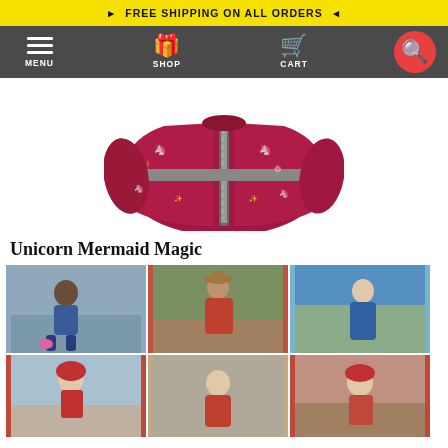FREE SHIPPING ON ALL ORDERS
[Figure (screenshot): Navigation bar with MENU (hamburger icon), SHOP (gift icon), CART (shopping cart icon), and search button (red circle with magnifying glass)]
[Figure (photo): Red children's jacket with unicorn and mermaid print pattern, zip-up front, displayed flat on white background]
Unicorn Mermaid Magic
[Figure (photo): Grid of 6 children's lifestyle photos showing kids wearing various colorful printed rain jackets outdoors]